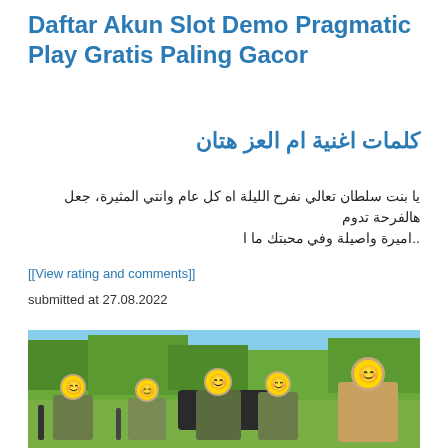Daftar Akun Slot Demo Pragmatic Play Gratis Paling Gacor
كلمات اغنية ام العز هتان
يا بنت سلطان تعالي نفرح الليلة اه كل عام وانتي المثيرة، جعل هالفرحة تدوم ..اميرة واصيلة وفي محبتك ما ا
[[View rating and comments]]
submitted at 27.08.2022
[Figure (photo): Group of soldiers with emoji faces posing outdoors in a field with trees and blue sky background]